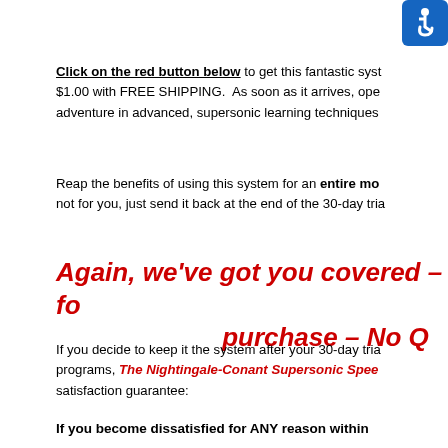[Figure (logo): Blue accessibility icon with wheelchair symbol in top right corner]
Click on the red button below to get this fantastic system for just $1.00 with FREE SHIPPING. As soon as it arrives, open it and begin your adventure in advanced, supersonic learning techniques
Reap the benefits of using this system for an entire mo not for you, just send it back at the end of the 30-day tria
Again, we've got you covered – fo purchase – No Q
If you decide to keep it the system after your 30-day tria programs, The Nightingale-Conant Supersonic Spee satisfaction guarantee:
If you become dissatisfied for ANY reason within